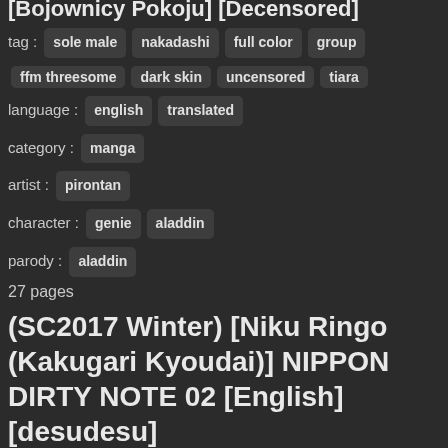[Bojownicy Pokoju] [Decensored]
tag : sole male nakadashi full color group
ffm threesome dark skin uncensored tiara
language : english translated
category : manga
artist : pirontan
character : genie aladdin
parody : aladdin
27 pages
(SC2017 Winter) [Niku Ringo (Kakugari Kyoudai)] NIPPON DIRTY NOTE 02 [English] [desudesu]
tag : big breasts huge breasts bondage crossdressing